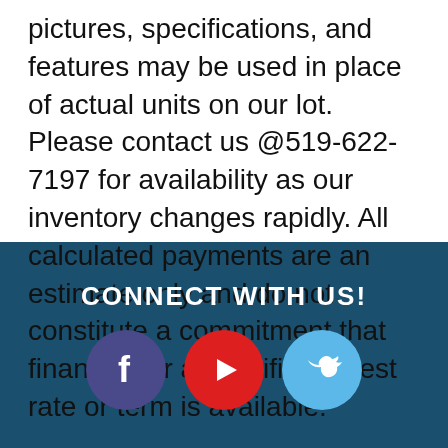pictures, specifications, and features may be used in place of actual units on our lot. Please contact us @519-622-7197 for availability as our inventory changes rapidly. All calculated payments are an estimate only and do not constitute a commitment that financing or a specific interest rate or term is available.
CONNECT WITH US!
[Figure (illustration): Three social media icon circles: Facebook (dark purple/blue circle with 'f' logo), YouTube (red circle with play button logo), Twitter (light blue circle with bird logo)]